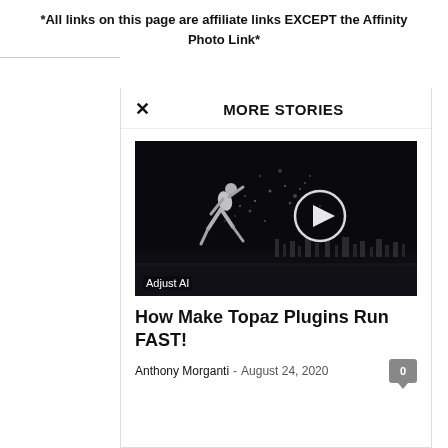*All links on this page are affiliate links EXCEPT the Affinity Photo Link*
MORE STORIES
[Figure (screenshot): Dark background image of a runner with particle/dust effect and a play button overlay, labeled 'Adjust AI']
How Make Topaz Plugins Run FAST!
Anthony Morganti  -  August 24, 2020